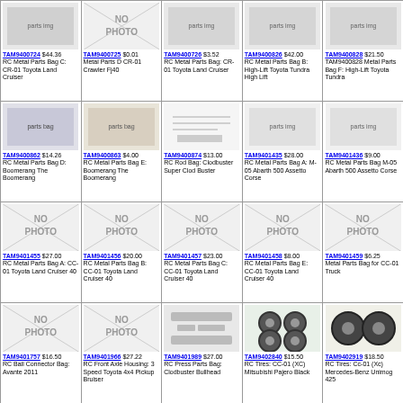| TAM9400724 $44.36
RC Metal Parts Bag C: CR-01 Toyota Land Cruiser | TAM9400725 $0.01
Metal Parts D CR-01 Crawler Fj40 | TAM9400726 $3.52
RC Metal Parts Bag: CR-01 Toyota Land Cruiser | TAM9400826 $42.00
RC Metal Parts Bag B: High-Lift Toyota Tundra High Lift | TAM9400828 $21.50
TAM9400828 Metal Parts Bag F: High-Lift Toyota Tundra |
| TAM9400862 $14.26
RC Metal Parts Bag D: Boomerang The Boomerang | TAM9400863 $4.00
RC Metal Parts Bag E: Boomerang The Boomerang | TAM9400874 $13.00
RC Rod Bag: Clodbuster Super Clod Buster | TAM9401435 $28.00
RC Metal Parts Bag A: M-05 Abarth 500 Assetto Corse | TAM9401436 $9.00
RC Metal Parts Bag M-05 Abarth 500 Assetto Corse |
| TAM9401455 $27.00
RC Metal Parts Bag A: CC-01 Toyota Land Cruiser 40 | TAM9401456 $20.00
RC Metal Parts Bag B: CC-01 Toyota Land Cruiser 40 | TAM9401457 $23.00
RC Metal Parts Bag C: CC-01 Toyota Land Cruiser 40 | TAM9401458 $8.00
RC Metal Parts Bag E: CC-01 Toyota Land Cruiser 40 | TAM9401459 $6.25
Metal Parts Bag for CC-01 Truck |
| TAM9401757 $16.50
RC Ball Connector Bag: Avante 2011 | TAM9401966 $27.22
RC Front Axle Housing: 3 Speed Toyota 4x4 Pickup Bruiser | TAM9401989 $27.00
RC Press Parts Bag: Clodbuster Bullhead | TAM9402840 $15.50
RC Tires: CC-01 (XC) Mitsubishi Pajero Black | TAM9402919 $18.50
RC Tires: Cc-01 (Xc) Mercedes-Benz Unimog 425 |